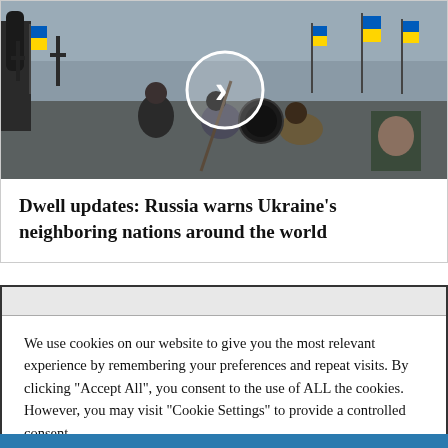[Figure (photo): Cemetery scene with Ukrainian flags and people digging graves, with a play button overlay circle in the center]
Dwell updates: Russia warns Ukraine's neighboring nations around the world
[Figure (other): Gray top bar of cookie consent dialog]
We use cookies on our website to give you the most relevant experience by remembering your preferences and repeat visits. By clicking "Accept All", you consent to the use of ALL the cookies. However, you may visit "Cookie Settings" to provide a controlled consent.
Cookie Settings
Accept All